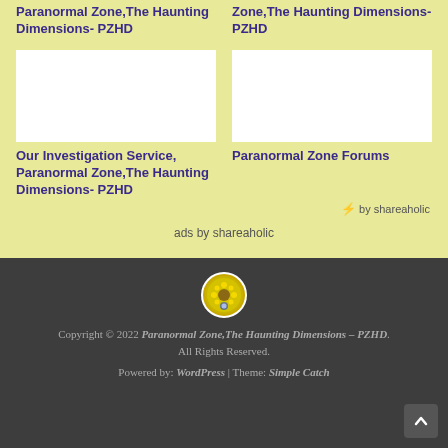Paranormal Zone,The Haunting Dimensions- PZHD
Zone,The Haunting Dimensions- PZHD
[Figure (photo): White image box placeholder]
[Figure (photo): White image box placeholder]
Our Investigation Service, Paranormal Zone,The Haunting Dimensions- PZHD
Paranormal Zone Forums
by shareaholic
ads by shareaholic
[Figure (logo): Circular site logo with yellow/green design]
Copyright © 2022 Paranormal Zone,The Haunting Dimensions – PZHD. All Rights Reserved.
Powered by: WordPress | Theme: Simple Catch